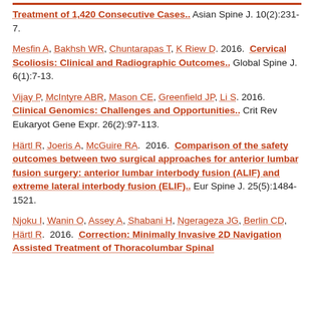Treatment of 1,420 Consecutive Cases.. Asian Spine J. 10(2):231-7.
Mesfin A, Bakhsh WR, Chuntarapas T, K Riew D. 2016. Cervical Scoliosis: Clinical and Radiographic Outcomes.. Global Spine J. 6(1):7-13.
Vijay P, McIntyre ABR, Mason CE, Greenfield JP, Li S. 2016. Clinical Genomics: Challenges and Opportunities.. Crit Rev Eukaryot Gene Expr. 26(2):97-113.
Härtl R, Joeris A, McGuire RA. 2016. Comparison of the safety outcomes between two surgical approaches for anterior lumbar fusion surgery: anterior lumbar interbody fusion (ALIF) and extreme lateral interbody fusion (ELIF).. Eur Spine J. 25(5):1484-1521.
Njoku I, Wanin O, Assey A, Shabani H, Ngerageza JG, Berlin CD, Härtl R. 2016. Correction: Minimally Invasive 2D Navigation Assisted Treatment of Thoracolumbar Spinal...